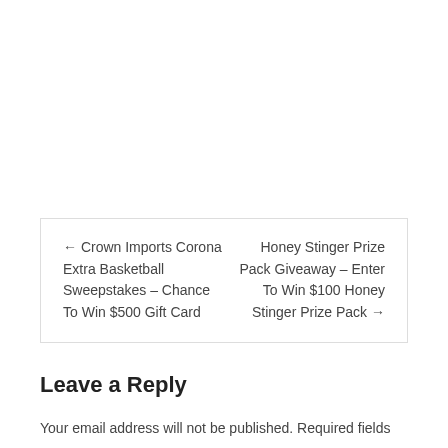← Crown Imports Corona Extra Basketball Sweepstakes – Chance To Win $500 Gift Card    Honey Stinger Prize Pack Giveaway – Enter To Win $100 Honey Stinger Prize Pack →
Leave a Reply
Your email address will not be published. Required fields